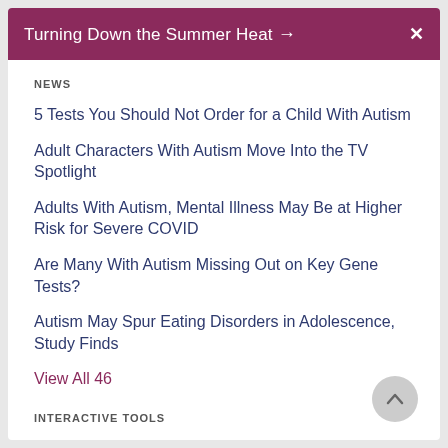Turning Down the Summer Heat →   X
NEWS
5 Tests You Should Not Order for a Child With Autism
Adult Characters With Autism Move Into the TV Spotlight
Adults With Autism, Mental Illness May Be at Higher Risk for Severe COVID
Are Many With Autism Missing Out on Key Gene Tests?
Autism May Spur Eating Disorders in Adolescence, Study Finds
View All 46
INTERACTIVE TOOLS
Autism Quiz